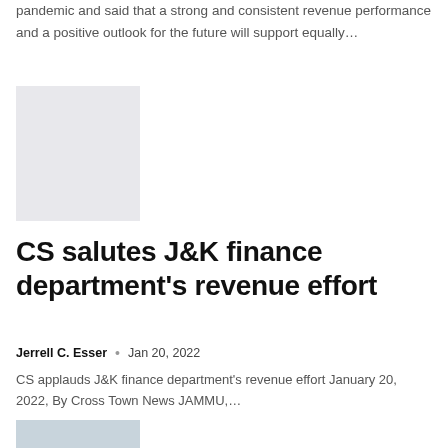pandemic and said that a strong and consistent revenue performance and a positive outlook for the future will support equally...
[Figure (photo): Light gray placeholder image rectangle]
CS salutes J&K finance department's revenue effort
Jerrell C. Esser • Jan 20, 2022
CS applauds J&K finance department's revenue effort January 20, 2022, By Cross Town News JAMMU,...
[Figure (photo): Partially visible image at bottom of page]